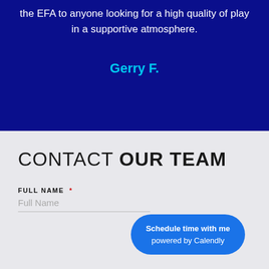the EFA to anyone looking for a high quality of play in a supportive atmosphere.
Gerry F.
CONTACT OUR TEAM
FULL NAME *
Full Name
Schedule time with me powered by Calendly